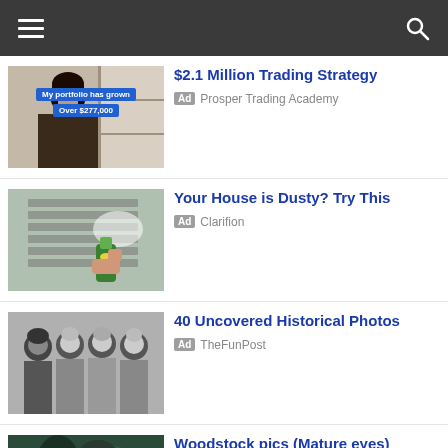[Figure (photo): Woman with text overlay: My portfolio has grown Over $277,000]
$2.1 Million Trading Strategy
Ad Prosper Trading Academy
[Figure (photo): Hands spraying green bottle at air vent]
Your House is Dusty? Try This
Ad Clarifion
[Figure (photo): Black and white historical photo of women in tank tops]
40 Uncovered Historical Photos
Ad TheFunPost
[Figure (photo): Dark toned photo of people at Woodstock]
Woodstock pics (Mature eyes)